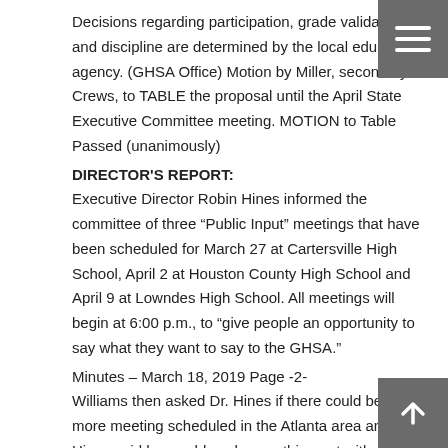Decisions regarding participation, grade validation and discipline are determined by the local education agency. (GHSA Office) Motion by Miller, second by Crews, to TABLE the proposal until the April State Executive Committee meeting. MOTION to Table Passed (unanimously)
DIRECTOR'S REPORT:
Executive Director Robin Hines informed the committee of three “Public Input” meetings that have been scheduled for March 27 at Cartersville High School, April 2 at Houston County High School and April 9 at Lowndes High School. All meetings will begin at 6:00 p.m., to “give people an opportunity to say what they want to say to the GHSA.”
Minutes – March 18, 2019 Page -2-
Williams then asked Dr. Hines if there could be one more meeting scheduled in the Atlanta area and Dr. Hines said he would work something out with Jewell for a meeting at an APS school and send out that date and location when it was set.
Hines discussed the potential expansion of the Board of Trustees, which will be decided by a second vote at the April State Executive Committee meeting, and asked the BOT to begin thinking about